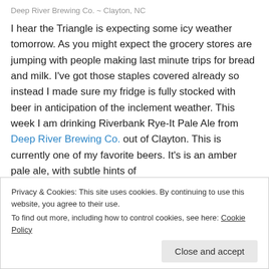Deep River Brewing Co. ~ Clayton, NC
I hear the Triangle is expecting some icy weather tomorrow. As you might expect the grocery stores are jumping with people making last minute trips for bread and milk. I've got those staples covered already so instead I made sure my fridge is fully stocked with beer in anticipation of the inclement weather. This week I am drinking Riverbank Rye-It Pale Ale from Deep River Brewing Co. out of Clayton. This is currently one of my favorite beers. It's is an amber pale ale, with subtle hints of
Privacy & Cookies: This site uses cookies. By continuing to use this website, you agree to their use.
To find out more, including how to control cookies, see here: Cookie Policy
Close and accept